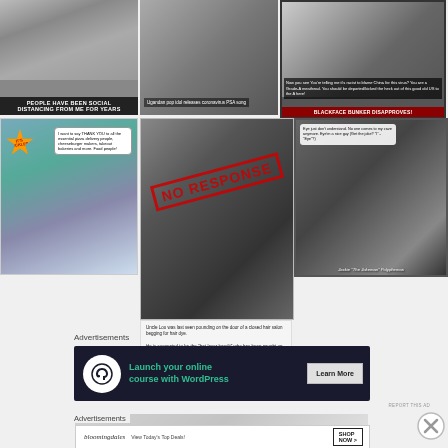[Figure (photo): Meme: crowd scene with overlay text 'PEOPLE HAVE BEEN SOCIAL DISTANCING FROM ME FOR YEARS']
[Figure (photo): Meme: Ugandan pop idol releases coronavirus PSA song]
[Figure (photo): Meme: Blackface Bunker Disapproves, man in suit with speech bubble text]
[Figure (photo): Meme: duck with IT'S PICKLES burst and speech bubble about essential pizza delivery people etc.]
[Figure (photo): Meme: man with NO RESPONSE stamp overlay, caption about Uncle Lou at hair salon]
[Figure (photo): Meme: Jackie The Jokeman Polyphemos monster with speech bubble about no one coming to cave]
Advertisements
[Figure (screenshot): Advertisement: Launch your online course with WordPress - Learn More button, dark background with green text]
REPORT THIS AD
[Figure (screenshot): Partially visible second advertisement banner]
Advertisements
[Figure (screenshot): Bloomingdales advertisement: View Today's Top Deals! SHOP NOW >]
REPORT THIS AD